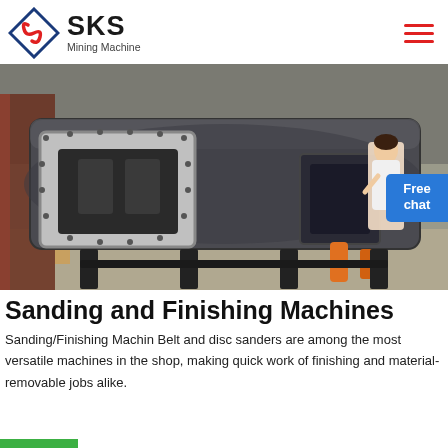SKS Mining Machine
[Figure (photo): Industrial mining machine with large rectangular opening/chute and curved body, mounted on a black metal frame in a factory/warehouse setting. A figure of a woman in business attire is overlaid on the right side of the image.]
Sanding and Finishing Machines
Sanding/Finishing Machin Belt and disc sanders are among the most versatile machines in the shop, making quick work of finishing and material-removable jobs alike.